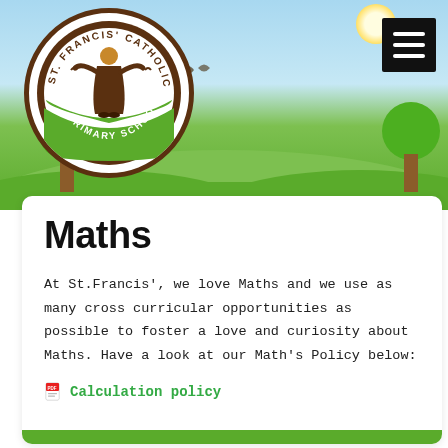[Figure (illustration): School website header with blue sky, green hills, trees, school logo (St. Francis' Catholic Primary School circular badge with friar figure), and hamburger menu icon in top right.]
Maths
At St.Francis', we love Maths and we use as many cross curricular opportunities as possible to foster a love and curiosity about Maths. Have a look at our Math's Policy below:
Calculation policy